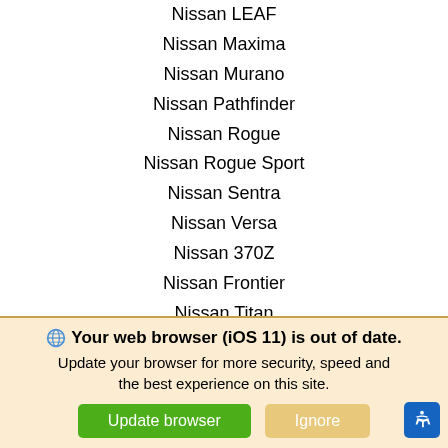Nissan LEAF
Nissan Maxima
Nissan Murano
Nissan Pathfinder
Nissan Rogue
Nissan Rogue Sport
Nissan Sentra
Nissan Versa
Nissan 370Z
Nissan Frontier
Nissan Titan
SERVICE & PARTS
Schedule Service
Nissan Battery
Nissan Brakes
We use cookies to optimize our website and our service.
Cookie Policy  ·  Privacy Statement
Your web browser (iOS 11) is out of date. Update your browser for more security, speed and the best experience on this site.